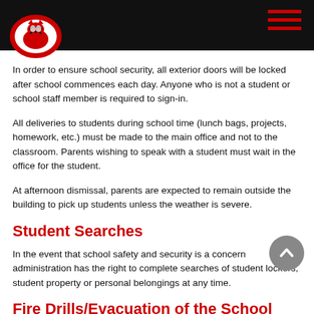School header with logo and hamburger menu
In order to ensure school security, all exterior doors will be locked after school commences each day. Anyone who is not a student or school staff member is required to sign-in.
All deliveries to students during school time (lunch bags, projects, homework, etc.) must be made to the main office and not to the classroom. Parents wishing to speak with a student must wait in the office for the student.
At afternoon dismissal, parents are expected to remain outside the building to pick up students unless the weather is severe.
Student Searches
In the event that school safety and security is a concern administration has the right to complete searches of student lockers, student property or personal belongings at any time.
Fire Drills/Evacuation of the School
Fire Drills are conducted according to Salem Board of Educati...